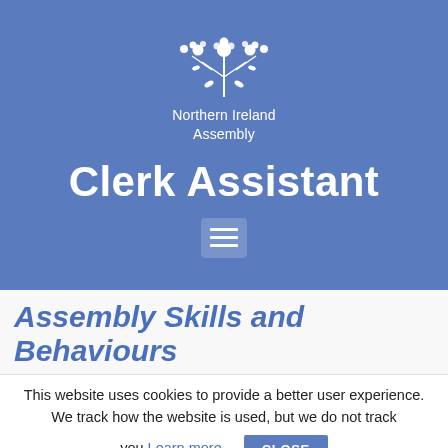[Figure (logo): Northern Ireland Assembly floral emblem logo in white, with stylized flowers and branches in a semicircle pattern]
Northern Ireland Assembly
Clerk Assistant
[Figure (other): Hamburger menu icon with three horizontal white lines on a semi-transparent rounded rectangle background]
Assembly Skills and Behaviours
This website uses cookies to provide a better user experience. We track how the website is used, but we do not track you.
Learn more...
CLOSE